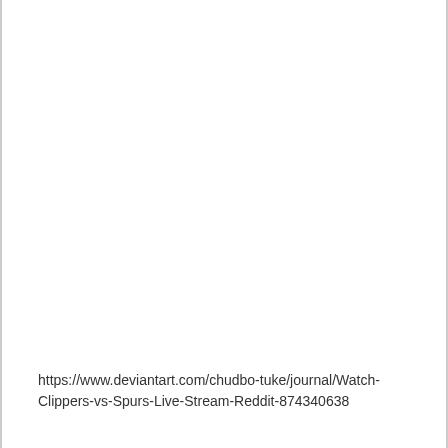https://www.deviantart.com/chudbo-tuke/journal/Watch-Clippers-vs-Spurs-Live-Stream-Reddit-874340638